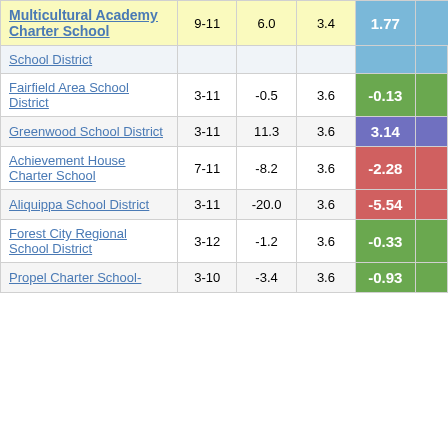| School | Grades | Score | Avg | Value |
| --- | --- | --- | --- | --- |
| Multicultural Academy Charter School | 9-11 | 6.0 | 3.4 | 1.77 |
| School District |  |  |  |  |
| Fairfield Area School District | 3-11 | -0.5 | 3.6 | -0.13 |
| Greenwood School District | 3-11 | 11.3 | 3.6 | 3.14 |
| Achievement House Charter School | 7-11 | -8.2 | 3.6 | -2.28 |
| Aliquippa School District | 3-11 | -20.0 | 3.6 | -5.54 |
| Forest City Regional School District | 3-12 | -1.2 | 3.6 | -0.33 |
| Propel Charter School- | 3-10 | -3.4 | 3.6 | -0.93 |